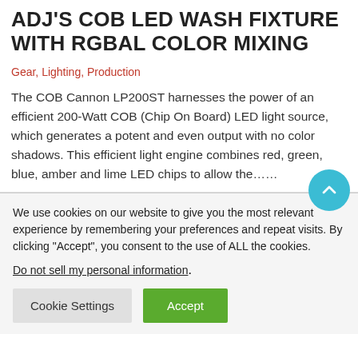ADJ'S COB LED WASH FIXTURE WITH RGBAL COLOR MIXING
Gear, Lighting, Production
The COB Cannon LP200ST harnesses the power of an efficient 200-Watt COB (Chip On Board) LED light source, which generates a potent and even output with no color shadows. This efficient light engine combines red, green, blue, amber and lime LED chips to allow the......
We use cookies on our website to give you the most relevant experience by remembering your preferences and repeat visits. By clicking "Accept", you consent to the use of ALL the cookies.
Do not sell my personal information.